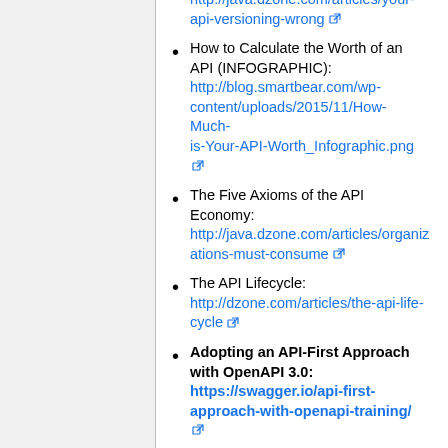http://java.dzone.com/articles/your-api-versioning-wrong
How to Calculate the Worth of an API (INFOGRAPHIC): http://blog.smartbear.com/wp-content/uploads/2015/11/How-Much-is-Your-API-Worth_Infographic.png
The Five Axioms of the API Economy: http://java.dzone.com/articles/organizations-must-consume
The API Lifecycle: http://dzone.com/articles/the-api-life-cycle
Adopting an API-First Approach with OpenAPI 3.0: https://swagger.io/api-first-approach-with-openapi-training/
Design patterns for modern web APIs: